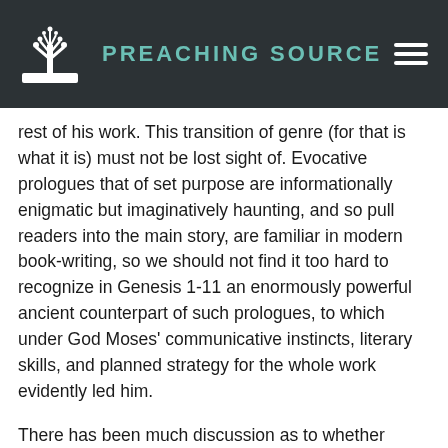PREACHING SOURCE
rest of his work. This transition of genre (for that is what it is) must not be lost sight of. Evocative prologues that of set purpose are informationally enigmatic but imaginatively haunting, and so pull readers into the main story, are familiar in modern book-writing, so we should not find it too hard to recognize in Genesis 1-11 an enormously powerful ancient counterpart of such prologues, to which under God Moses' communicative instincts, literary skills, and planned strategy for the whole work evidently led him.
There has been much discussion as to whether words  such as “legend,” “saga,” “epic,” “myth,” or “tale” would be good labels for the kind of narrative that these chapters contain, but none of them will really do, because they all imply that what is narrated is fiction rather than fact, and by linking his narratives with genealogies that take us from Adam and Eve down to Abraham and across the entire MidEast Moses